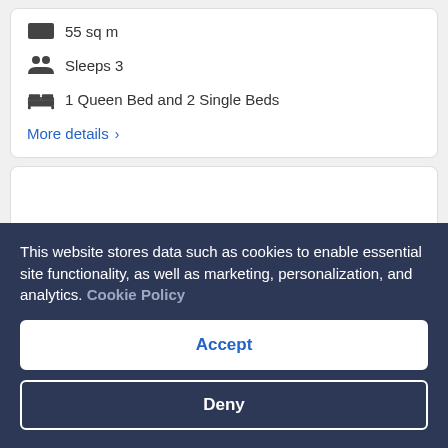55 sq m
Sleeps 3
1 Queen Bed and 2 Single Beds
More details >
[Figure (other): Image carousel with left and right navigation arrows]
This website stores data such as cookies to enable essential site functionality, as well as marketing, personalization, and analytics. Cookie Policy
Accept
Deny